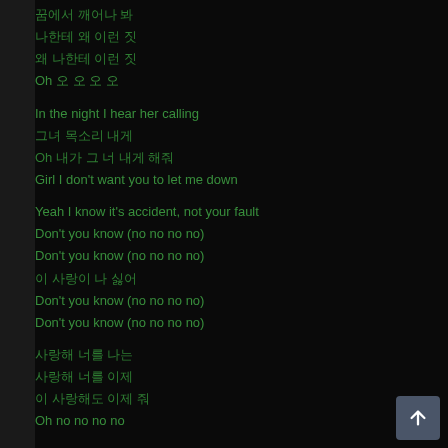꿈에서 깨어나 봐
나한테 왜 이런 짓
왜 나한테 이런 짓
Oh 오 오 오 오
In the night I hear her calling
그녀 목소리 내게
Oh 내가 그 너 내게 해줘
Girl I don't want you to let me down
Yeah I know it's accident, not your fault
Don't you know (no no no no)
Don't you know (no no no no)
이 사랑이 나 싫어
Don't you know (no no no no)
Don't you know (no no no no)
사랑해 너를 나는
사랑해 너를 이제
이 사랑해도 이제 줘
Oh no no no no